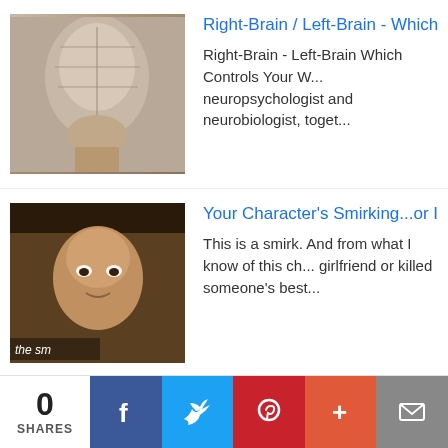[Figure (screenshot): Thumbnail of a brain/head sculpture with phrenology markings]
Right-Brain / Left-Brain - Which Controls Your W...
Right-Brain - Left-Brain Which Controls Your W... neuropsychologist and neurobiologist, toget...
[Figure (photo): Thumbnail of a man smirking with text 'the sm' overlay]
Your Character's Smirking...or Is He? Synonym...
This is a smirk. And from what I know of this ch... girlfriend or killed someone's best...
CHECK IT OUT
[Figure (other): Amazon advertisement banner: Shop. Connect. Enjoy. Shop now with product images]
0 SHARES
[Figure (infographic): Social share bar with Facebook, Twitter, Pinterest, Plus, and Email buttons]